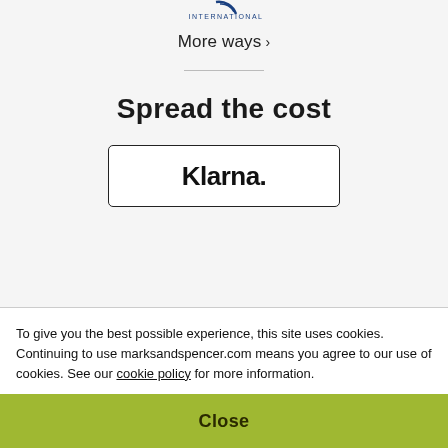[Figure (logo): Partial logo at top center — appears to be an international organization logo, partially cropped]
More ways >
Spread the cost
[Figure (logo): Klarna logo displayed inside a rectangular bordered button]
To give you the best possible experience, this site uses cookies. Continuing to use marksandspencer.com means you agree to our use of cookies. See our cookie policy for more information.
Close